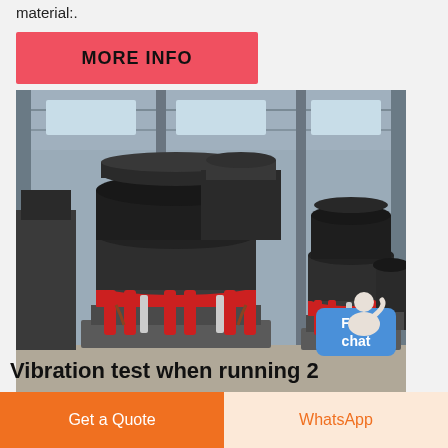material:.
MORE INFO
[Figure (photo): Industrial cone crushers in a factory warehouse setting. Three large black and red hydraulic cone crushers on metal frames are visible in the foreground, with more machinery in the background. The factory has a metal roof structure.]
Free chat
Vibration test when running 2
Get a Quote
WhatsApp